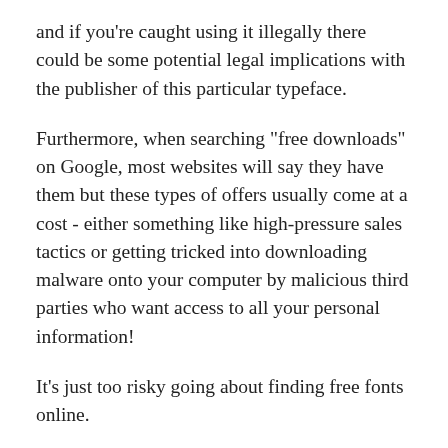and if you're caught using it illegally there could be some potential legal implications with the publisher of this particular typeface.
Furthermore, when searching "free downloads" on Google, most websites will say they have them but these types of offers usually come at a cost - either something like high-pressure sales tactics or getting tricked into downloading malware onto your computer by malicious third parties who want access to all your personal information!
It's just too risky going about finding free fonts online.
If you really want AZ Varsity and you want to truly own it the legal and safe way, then click here to visit